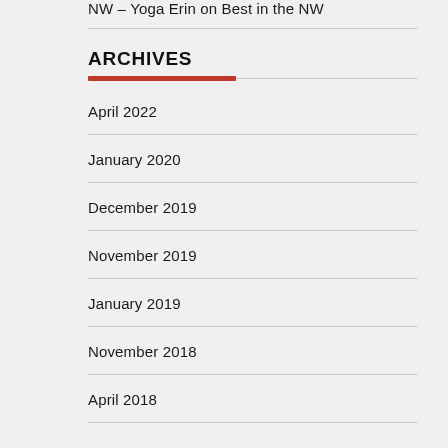NW – Yoga Erin on Best in the NW
ARCHIVES
April 2022
January 2020
December 2019
November 2019
January 2019
November 2018
April 2018